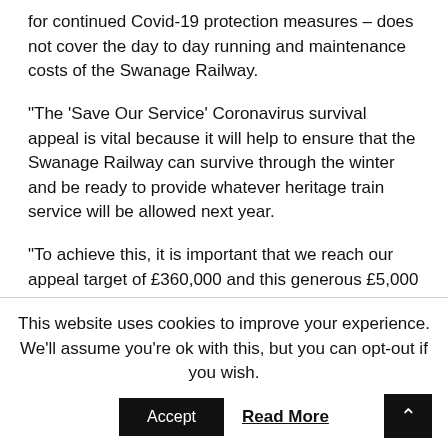for continued Covid-19 protection measures – does not cover the day to day running and maintenance costs of the Swanage Railway.
“The ‘Save Our Service’ Coronavirus survival appeal is vital because it will help to ensure that the Swanage Railway can survive through the winter and be ready to provide whatever heritage train service will be allowed next year.
“To achieve this, it is important that we reach our appeal target of £360,000 and this generous £5,000
This website uses cookies to improve your experience. We’ll assume you’re ok with this, but you can opt-out if you wish.